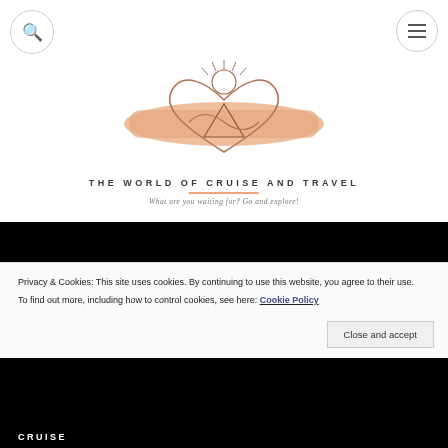[Figure (logo): The World of Cruise and Travel logo with a heart/mountain/wave illustration on a peach brush stroke background]
THE WORLD OF CRUISE AND TRAVEL
What are you waiting for? Go and explore!
[Figure (photo): Large black/dark hero image area]
Privacy & Cookies: This site uses cookies. By continuing to use this website, you agree to their use.
To find out more, including how to control cookies, see here: Cookie Policy
Close and accept
CRUISE